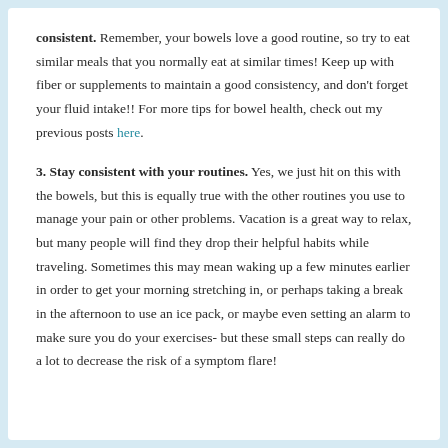consistent. Remember, your bowels love a good routine, so try to eat similar meals that you normally eat at similar times! Keep up with fiber or supplements to maintain a good consistency, and don't forget your fluid intake!! For more tips for bowel health, check out my previous posts here.
3. Stay consistent with your routines. Yes, we just hit on this with the bowels, but this is equally true with the other routines you use to manage your pain or other problems. Vacation is a great way to relax, but many people will find they drop their helpful habits while traveling. Sometimes this may mean waking up a few minutes earlier in order to get your morning stretching in, or perhaps taking a break in the afternoon to use an ice pack, or maybe even setting an alarm to make sure you do your exercises- but these small steps can really do a lot to decrease the risk of a symptom flare!